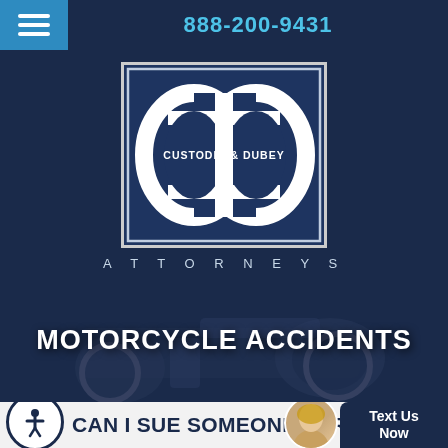888-200-9431
[Figure (logo): Custodio & Dubey Attorneys logo — stylized CD monogram in white on dark blue, with text CUSTODIO & DUBEY and ATTORNEYS below]
MOTORCYCLE ACCIDENTS
CAN I SUE SOMEONE PERSONALLY
Text Us Now